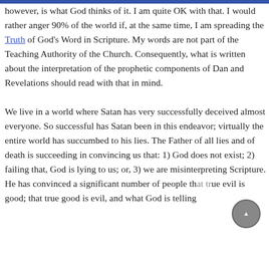however, is what God thinks of it. I am quite OK with that. I would rather anger 90% of the world if, at the same time, I am spreading the Truth of God's Word in Scripture. My words are not part of the Teaching Authority of the Church. Consequently, what is written about the interpretation of the prophetic components of Dan and Revelations should read with that in mind.

We live in a world where Satan has very successfully deceived almost everyone. So successful has Satan been in this endeavor; virtually the entire world has succumbed to his lies. The Father of all lies and of death is succeeding in convincing us that: 1) God does not exist; 2) failing that, God is lying to us; or, 3) we are misinterpreting Scripture. He has convinced a significant number of people that true evil is good; that true good is evil, and what God is telling